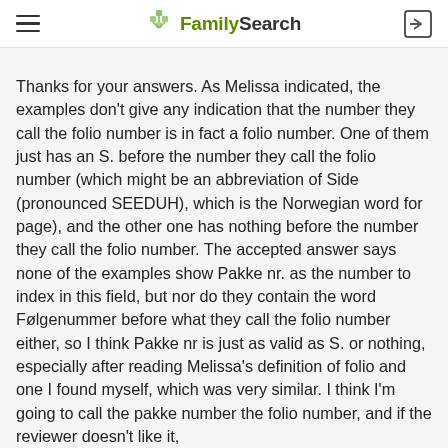FamilySearch
Thanks for your answers. As Melissa indicated, the examples don't give any indication that the number they call the folio number is in fact a folio number. One of them just has an S. before the number they call the folio number (which might be an abbreviation of Side (pronounced SEEDUH), which is the Norwegian word for page), and the other one has nothing before the number they call the folio number. The accepted answer says none of the examples show Pakke nr. as the number to index in this field, but nor do they contain the word Følgenummer before what they call the folio number either, so I think Pakke nr is just as valid as S. or nothing, especially after reading Melissa's definition of folio and one I found myself, which was very similar. I think I'm going to call the pakke number the folio number, and if the reviewer doesn't like it,